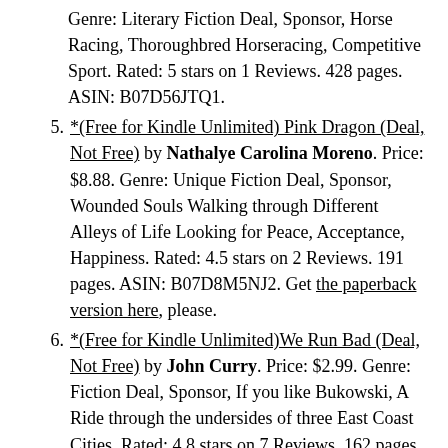Genre: Literary Fiction Deal, Sponsor, Horse Racing, Thoroughbred Horseracing, Competitive Sport. Rated: 5 stars on 1 Reviews. 428 pages. ASIN: B07D56JTQ1.
*(Free for Kindle Unlimited) Pink Dragon (Deal, Not Free) by Nathalye Carolina Moreno. Price: $8.88. Genre: Unique Fiction Deal, Sponsor, Wounded Souls Walking through Different Alleys of Life Looking for Peace, Acceptance, Happiness. Rated: 4.5 stars on 2 Reviews. 191 pages. ASIN: B07D8M5NJ2. Get the paperback version here, please.
*(Free for Kindle Unlimited)We Run Bad (Deal, Not Free) by John Curry. Price: $2.99. Genre: Fiction Deal, Sponsor, If you like Bukowski, A Ride through the undersides of three East Coast Cities. Rated: 4.8 stars on 7 Reviews. 162 pages. ASIN: B07DDL22LZ. Get the paperback version here.